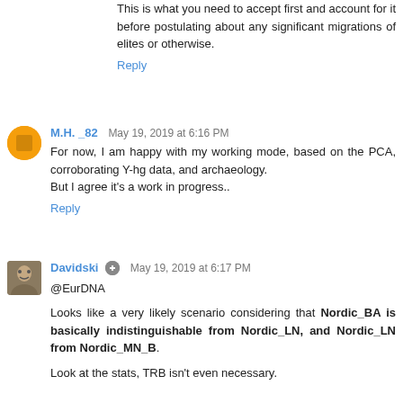This is what you need to accept first and account for it before postulating about any significant migrations of elites or otherwise.
Reply
M.H. _82  May 19, 2019 at 6:16 PM
For now, I am happy with my working mode, based on the PCA, corroborating Y-hg data, and archaeology.
But I agree it's a work in progress..
Reply
Davidski  May 19, 2019 at 6:17 PM
@EurDNA
Looks like a very likely scenario considering that Nordic_BA is basically indistinguishable from Nordic_LN, and Nordic_LN from Nordic_MN_B.
Look at the stats, TRB isn't even necessary.